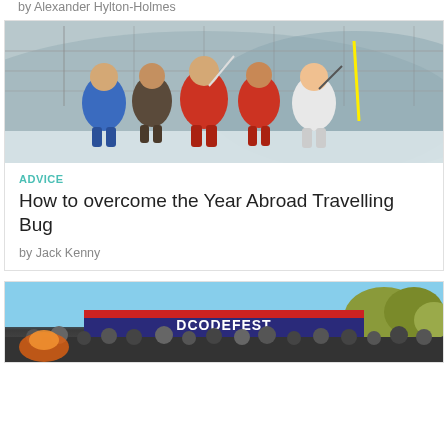by Alexander Hylton-Holmes
[Figure (photo): Group of young people posing together in winter ski gear at a ski slope, cloudy sky in background]
ADVICE
How to overcome the Year Abroad Travelling Bug
by Jack Kenny
[Figure (photo): Group photo in front of a DCODEFEST sign/banner outdoors with trees in background]